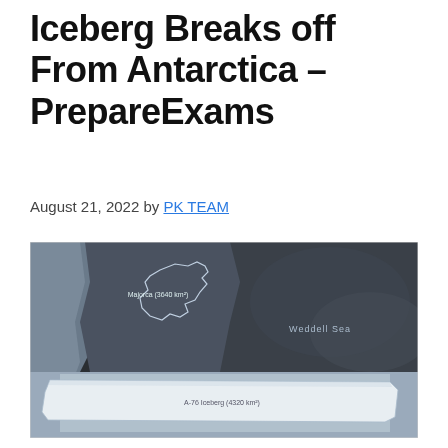Iceberg Breaks off From Antarctica – PrepareExams
August 21, 2022 by PK TEAM
[Figure (photo): Satellite image showing the A-76 iceberg (4320 km²) floating near Antarctica in the Weddell Sea, with an outline of Majorca (3640 km²) overlaid for size comparison. The iceberg appears as a large white rectangular mass in the lower portion, and the Majorca outline is shown in the upper-center area of the image.]